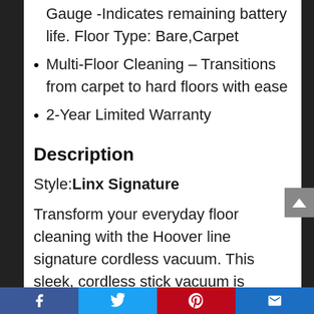Gauge -Indicates remaining battery life. Floor Type: Bare,Carpet
Multi-Floor Cleaning – Transitions from carpet to hard floors with ease
2-Year Limited Warranty
Description
Style: Linx Signature
Transform your everyday floor cleaning with the Hoover line signature cordless vacuum. This sleek, cordless stick vacuum is always at the ready for...